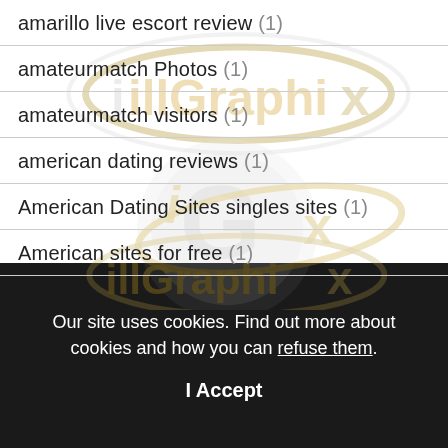amarillo live escort review (1)
amateurmatch Photos (1)
amateurmatch visitors (1)
american dating reviews (1)
American Dating Sites singles sites (1)
American sites for free (1)
[Figure (logo): illGraphix watermark logo repeated twice across the content area — gold and silver stylized text 'illGraphix' with orbital ring graphic]
Our site uses cookies. Find out more about cookies and how you can refuse them.
I Accept